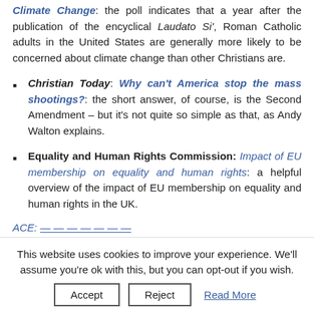Climate Change: the poll indicates that a year after the publication of the encyclical Laudato Si', Roman Catholic adults in the United States are generally more likely to be concerned about climate change than other Christians are.
Christian Today: Why can't America stop the mass shootings?: the short answer, of course, is the Second Amendment – but it's not quite so simple as that, as Andy Walton explains.
Equality and Human Rights Commission: Impact of EU membership on equality and human rights: a helpful overview of the impact of EU membership on equality and human rights in the UK.
ACE: [partially visible link text]
This website uses cookies to improve your experience. We'll assume you're ok with this, but you can opt-out if you wish.